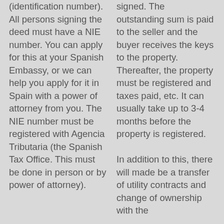(identification number). All persons signing the deed must have a NIE number. You can apply for this at your Spanish Embassy, or we can help you apply for it in Spain with a power of attorney from you. The NIE number must be registered with Agencia Tributaria (the Spanish Tax Office. This must be done in person or by power of attorney).
signed. The outstanding sum is paid to the seller and the buyer receives the keys to the property. Thereafter, the property must be registered and taxes paid, etc. It can usually take up to 3-4 months before the property is registered. In addition to this, there will made be a transfer of utility contracts and change of ownership with the